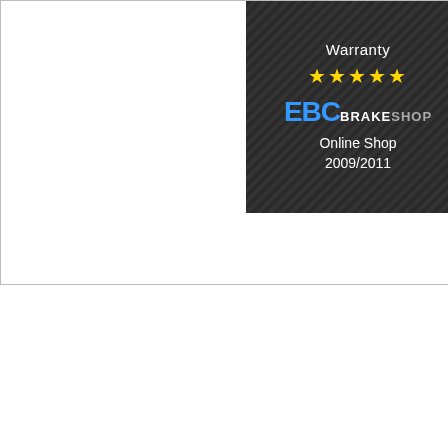[Figure (logo): EBC Brakeshop warranty badge with 5 stars, EBC BRAKESHOP logo in blue and white, 'Online Shop 2009/2011' text on dark carbon-fiber textured background]
EBC B...
Double...
The dis...
EBC ha...
improve...
The EB...
Run in...
Heard o...
The EB...
Organi...
Respec...
Want th...
Try the...
If you w...
lite X s...
Fitting...
HONDA...
CB 600...
CBR 60...
CBR 60...
CBR 60...
CBR 60...
CBR 10...